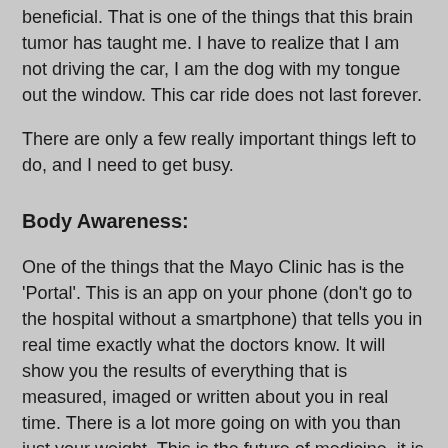beneficial.  That is one of the things that this brain tumor has taught me.  I have to realize that I am not driving the car, I am the dog with my tongue out the window.  This car ride does not last forever.
There are only a few really important things left to do, and I need to get busy.
Body Awareness:
One of the things that the Mayo Clinic has is the 'Portal'.  This is an app on your phone (don't go to the hospital without a smartphone) that tells you in real time exactly what the doctors know.  It will show you the results of everything that is measured, imaged or written about you in real time.  There is a lot more going on with you than just your weight.  This is the future of medicine, it is monitored on your wrist, on your phone and in the cloud.  It can tell you all those things that are going wrong long before symptoms ever show up, but you have to learn that they are there.  They are a routine that you have to learn but are usually ignored because other,